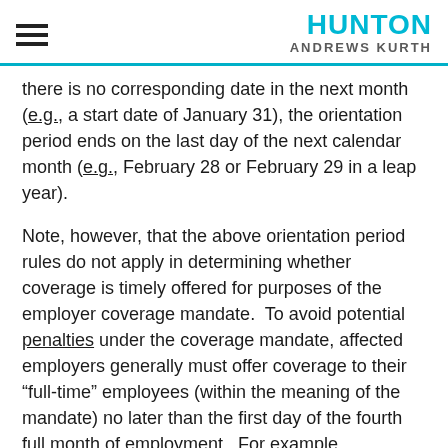HUNTON ANDREWS KURTH
there is no corresponding date in the next month (e.g., a start date of January 31), the orientation period ends on the last day of the next calendar month (e.g., February 28 or February 29 in a leap year).
Note, however, that the above orientation period rules do not apply in determining whether coverage is timely offered for purposes of the employer coverage mandate.  To avoid potential penalties under the coverage mandate, affected employers generally must offer coverage to their “full-time” employees (within the meaning of the mandate) no later than the first day of the fourth full month of employment.  For example,